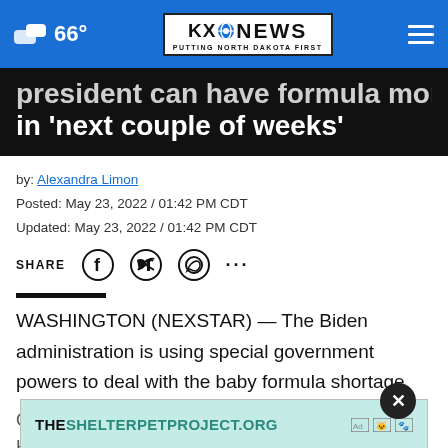66° KX NEWS PUTTING NORTH DAKOTA FIRST
president can have formula money in 'next couple of weeks'
by: Alexandra Limon
Posted: May 23, 2022 / 01:42 PM CDT
Updated: May 23, 2022 / 01:42 PM CDT
SHARE [social icons]
WASHINGTON (NEXSTAR) — The Biden administration is using special government powers to deal with the baby formula shortage.
On Su... Human Services announced Secretary Xavier Becerra
[Figure (other): Advertisement banner for THESHELTERPETPROJECT.ORG with ad icons and a close (X) button]